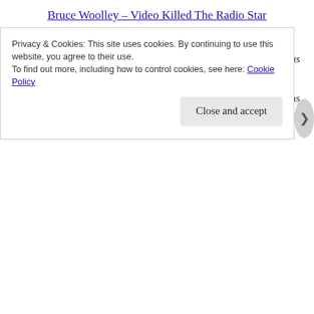Bruce Woolley – Video Killed The Radio Star
Over to Walter from a few good times in my life:
“Thomas Dolby wrote ‘New Toy’ by Lene Lovich a song that was played often long long years ago”.
Not be my, it wasn’t: other than her totally ace/bonkers (delete as applicable) Stiff release “Lucky Number” I don’t think I’ve ever heard anything else by her:
Privacy & Cookies: This site uses cookies. By continuing to use this website, you agree to their use.
To find out more, including how to control cookies, see here: Cookie Policy
Close and accept